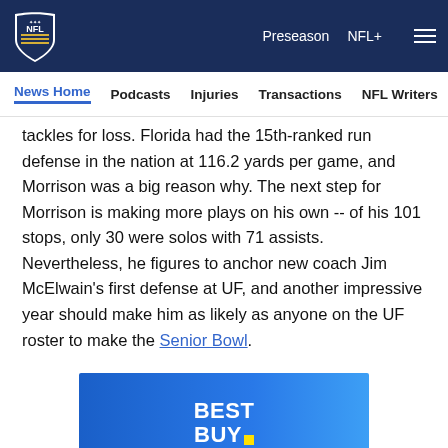NFL logo | Preseason | NFL+ | Menu
News Home | Podcasts | Injuries | Transactions | NFL Writers | Se
tackles for loss. Florida had the 15th-ranked run defense in the nation at 116.2 yards per game, and Morrison was a big reason why. The next step for Morrison is making more plays on his own -- of his 101 stops, only 30 were solos with 71 assists. Nevertheless, he figures to anchor new coach Jim McElwain's first defense at UF, and another impressive year should make him as likely as anyone on the UF roster to make the Senior Bowl.
[Figure (other): Best Buy advertisement banner — blue gradient background with white BEST BUY text and yellow dot logo]
[Figure (other): Social sharing icons row: Facebook, Twitter, Email, Link]